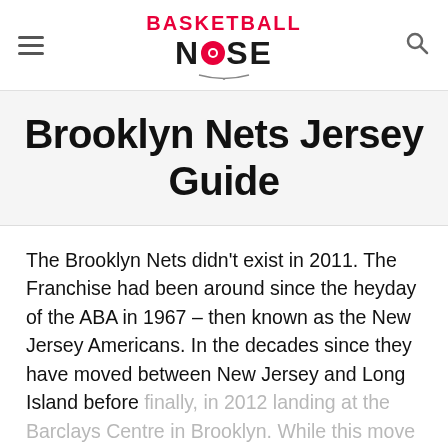BASKETBALL NOISE
Brooklyn Nets Jersey Guide
The Brooklyn Nets didn't exist in 2011. The Franchise had been around since the heyday of the ABA in 1967 – then known as the New Jersey Americans. In the decades since they have moved between New Jersey and Long Island before finally, in 2012 landing at the Barclays Centre in Brooklyn. While this move came amid huge